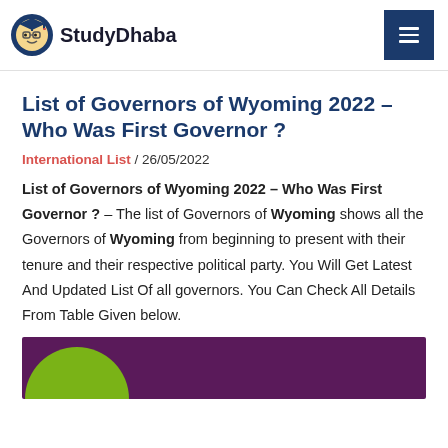StudyDhaba
List of Governors of Wyoming 2022 – Who Was First Governor ?
International List / 26/05/2022
List of Governors of Wyoming 2022 – Who Was First Governor ? – The list of Governors of Wyoming shows all the Governors of Wyoming from beginning to present with their tenure and their respective political party. You Will Get Latest And Updated List Of all governors. You Can Check All Details From Table Given below.
[Figure (illustration): Partial view of a decorative banner or image with green and purple/dark maroon colors, partially visible at the bottom of the page.]